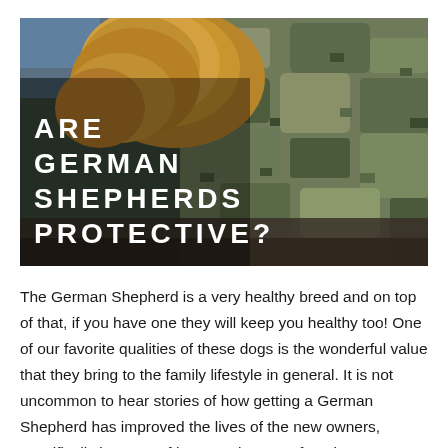[Figure (photo): A German Shepherd dog resting on a person wearing military camouflage clothing, with water visible in the background. Bold white uppercase text overlaid reads: ARE GERMAN SHEPHERDS PROTECTIVE?]
ARE GERMAN SHEPHERDS PROTECTIVE?
The German Shepherd is a very healthy breed and on top of that, if you have one they will keep you healthy too! One of our favorite qualities of these dogs is the wonderful value that they bring to the family lifestyle in general. It is not uncommon to hear stories of how getting a German Shepherd has improved the lives of the new owners, specifically in terms of how much more often they go outside for fresh air and physical activity. This brings huge